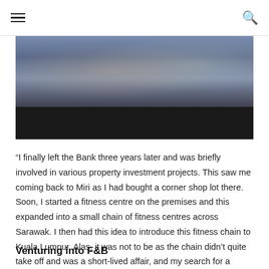≡  🔍
[Figure (photo): Photograph of a person in a gym or fitness setting, upper portion shows blurred figure in blue, lower portion is dark/black area suggesting video player or cropped image.]
“I finally left the Bank three years later and was briefly involved in various property investment projects. This saw me coming back to Miri as I had bought a corner shop lot there. Soon, I started a fitness centre on the premises and this expanded into a small chain of fitness centres across Sarawak. I then had this idea to introduce this fitness chain to Kuala Lumpur. Alas, it was not to be as the chain didn’t quite take off and was a short-lived affair, and my search for a viable business venture continued.”
Venturing into F&B